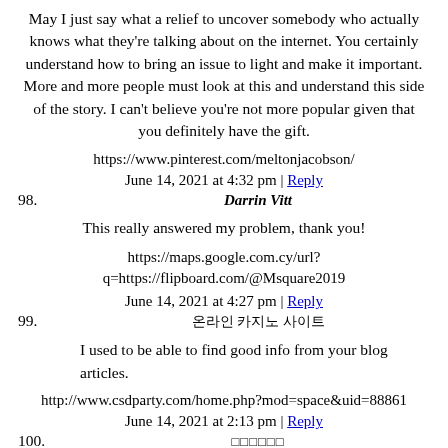May I just say what a relief to uncover somebody who actually knows what they're talking about on the internet. You certainly understand how to bring an issue to light and make it important. More and more people must look at this and understand this side of the story. I can't believe you're not more popular given that you definitely have the gift.
https://www.pinterest.com/meltonjacobson/
June 14, 2021 at 4:32 pm | Reply
98. Darrin Vitt
This really answered my problem, thank you!
https://maps.google.com.cy/url?q=https://flipboard.com/@Msquare2019
June 14, 2021 at 4:27 pm | Reply
99. 온라인 카지노 사이트
I used to be able to find good info from your blog articles.
http://www.csdparty.com/home.php?mod=space&uid=88861
June 14, 2021 at 2:13 pm | Reply
100.